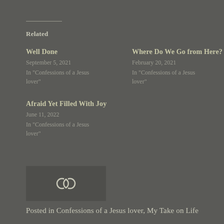Related
Well Done
September 5, 2021
In "Confessions of a Jesus lover"
Where Do We Go from Here?
February 20, 2021
In "Confessions of a Jesus lover"
Afraid Yet Filled With Joy
June 11, 2022
In "Confessions of a Jesus lover"
[Figure (other): Social sharing / link icon (two interlocking circles) inside a dark box]
Posted in Confessions of a Jesus lover, My Take on Life